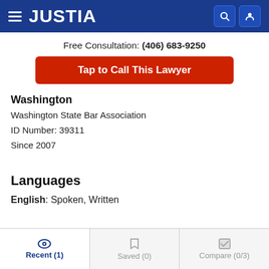JUSTIA
Free Consultation: (406) 683-9250
Tap to Call This Lawyer
Washington
Washington State Bar Association
ID Number: 39311
Since 2007
Languages
English: Spoken, Written
Recent (1)  Saved (0)  Compare (0/3)